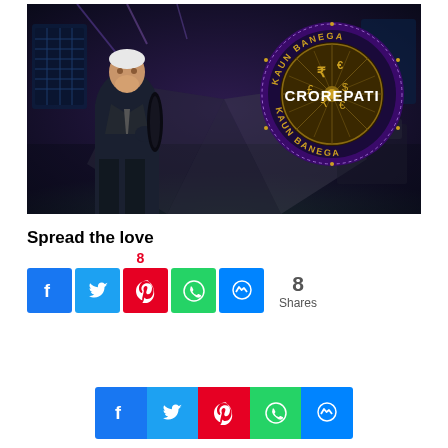[Figure (photo): Promotional image for Kaun Banega Crorepati TV show featuring host standing on a studio stage with the KBC logo badge — circular purple/gold emblem with 'KAUN BANEGA CROREPATI KAUN BANEGA' text around it and currency symbols inside]
Spread the love
[Figure (infographic): Social share buttons row: Facebook (blue), Twitter (blue), Pinterest (red) with count 8, WhatsApp (green), Messenger (blue). Share count showing 8 Shares.]
[Figure (infographic): Bottom social share bar with Facebook, Twitter, Pinterest, WhatsApp, Messenger buttons]